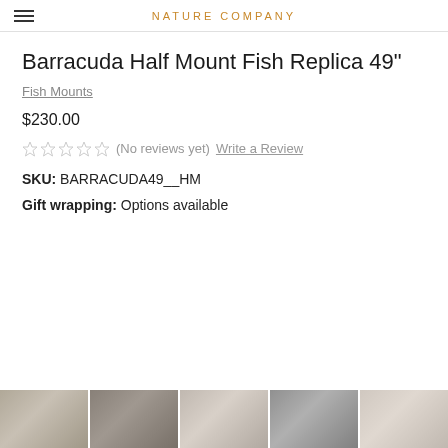NATURE COMPANY
Barracuda Half Mount Fish Replica 49"
Fish Mounts
$230.00
(No reviews yet)  Write a Review
SKU: BARRACUDA49__HM
Gift wrapping: Options available
[Figure (photo): Bottom strip showing a partial view of a barracuda fish replica, showing silvery scales and body segments]